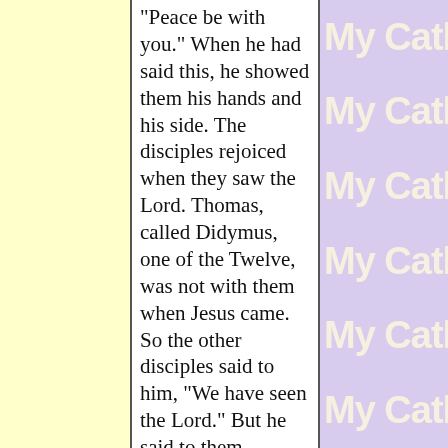"Peace be with you." When he had said this, he showed them his hands and his side. The disciples rejoiced when they saw the Lord. Thomas, called Didymus, one of the Twelve, was not with them when Jesus came. So the other disciples said to him, "We have seen the Lord." But he said to them, "Unless I see the mark of the nails in his hands and put my finger into the nailmarks and put my hand into his side, I will not believe." Now a week later his disciples were again inside and Thomas was with them. Jesus came, although the doors
My Catho
My Catho
My Catho
My Catho
My Catho
My Catho